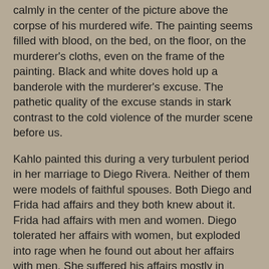calmly in the center of the picture above the corpse of his murdered wife. The painting seems filled with blood, on the bed, on the floor, on the murderer's cloths, even on the frame of the painting. Black and white doves hold up a banderole with the murderer's excuse. The pathetic quality of the excuse stands in stark contrast to the cold violence of the murder scene before us.
Kahlo painted this during a very turbulent period in her marriage to Diego Rivera. Neither of them were models of faithful spouses. Both Diego and Frida had affairs and they both knew about it. Frida had affairs with men and women. Diego tolerated her affairs with women, but exploded into rage when he found out about her affairs with men. She suffered his affairs mostly in silence. Frida ended that stoic silence when she found out that Diego was involved with her younger sister Cristina. Kahlo moved out, and by 1939, the two artists were divorced.
Frida Kahlo painted one of her most famous pictures shortly after Rivera divorced her. It is a painting about her profound isolation and her conflicted sense of herself.